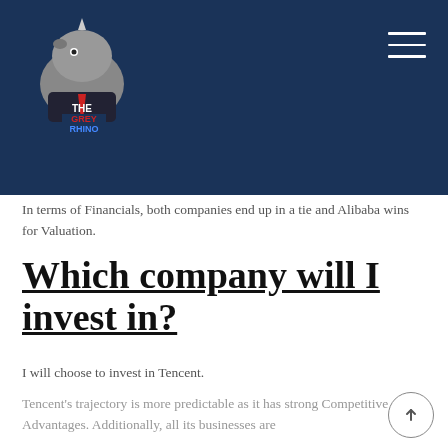[Figure (logo): The Grey Rhino logo — cartoon rhino mascot with text THE GREY RHINO on a dark navy header background]
In terms of Financials, both companies end up in a tie and Alibaba wins for Valuation.
Which company will I invest in?
I will choose to invest in Tencent.
Tencent's trajectory is more predictable as it has strong Competitive Advantages. Additionally, all its businesses are